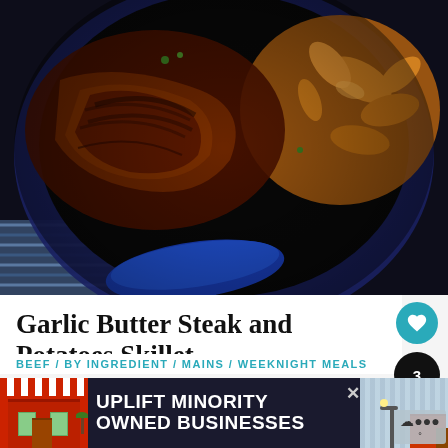[Figure (photo): Overhead shot of a cast iron blue skillet containing seared steak bites and golden crispy potato wedges, photographed from above on a blue striped cloth background.]
Garlic Butter Steak and Potatoes Skillet
BEEF / BY INGREDIENT / MAINS / WEEKNIGHT MEALS
Let's cook an easy, one-skillet steak and potatoes dinner. Tender steak bites and crispy golden potatoes in a garlic-bu...
[Figure (other): Advertisement banner: UPLIFT MINORITY OWNED BUSINESSES, with illustrated storefront graphics on both sides.]